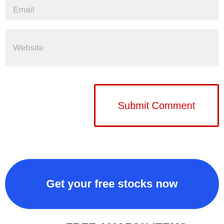Email
Website
Submit Comment
Get your free stocks now
FREE AMAZON ITEMS